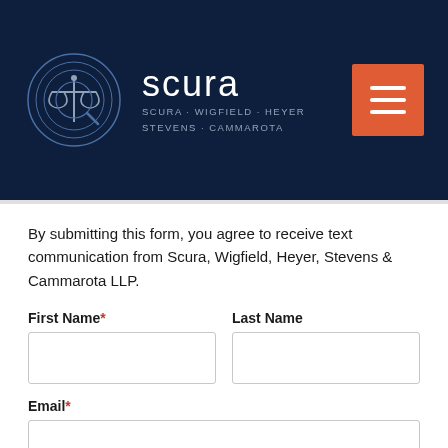[Figure (logo): Scura law firm logo: circular icon with scales of justice, firm name 'scura' in large light text, subtitle 'SCURA · WIGFIELD · HEYER STEVENS · CAMMAROTA' on dark navy header with orange hamburger menu button]
By submitting this form, you agree to receive text communication from Scura, Wigfield, Heyer, Stevens & Cammarota LLP.
First Name* | Last Name (form fields)
Email* (form field)
Phone Number* (form field)